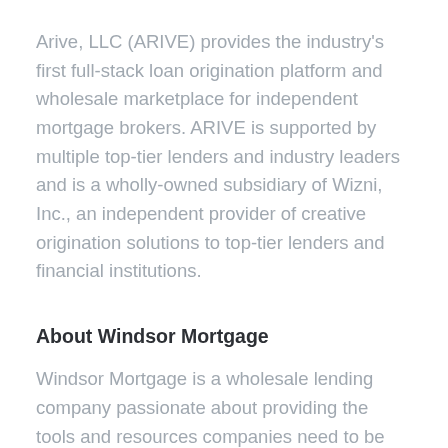Arive, LLC (ARIVE) provides the industry's first full-stack loan origination platform and wholesale marketplace for independent mortgage brokers. ARIVE is supported by multiple top-tier lenders and industry leaders and is a wholly-owned subsidiary of Wizni, Inc., an independent provider of creative origination solutions to top-tier lenders and financial institutions.
About Windsor Mortgage
Windsor Mortgage is a wholesale lending company passionate about providing the tools and resources companies need to be successful.